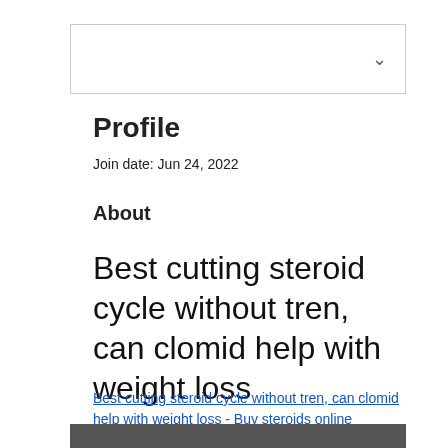[Figure (other): Navigation bar with dropdown chevron icon]
Profile
Join date: Jun 24, 2022
About
Best cutting steroid cycle without tren, can clomid help with weight loss
Best cutting steroid cycle without tren, can clomid help with weight loss - Buy steroids online
[Figure (photo): Bottom image strip]